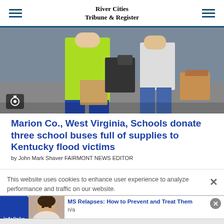River Cities Tribune & Register
[Figure (photo): People unloading supplies from boxes, one person in lime green shirt, another in jeans, outdoor parking lot setting]
Marion Co., West Virginia, Schools donate three school buses full of supplies to Kentucky flood victims
by John Mark Shaver FAIRMONT NEWS EDITOR
This website uses cookies to enhance user experience to analyze performance and traffic on our website.
[Figure (photo): Advertisement thumbnail showing a person's face, for MS Relapses: How to Prevent and Treat Them]
MS Relapses: How to Prevent and Treat Them
n/a